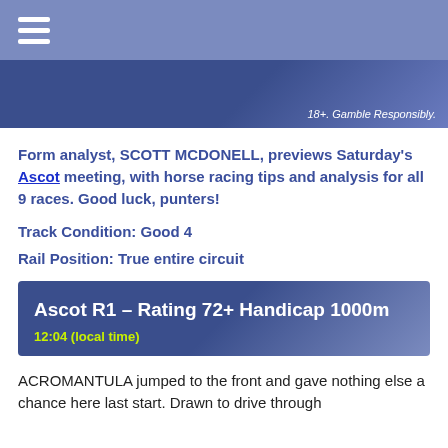Navigation bar with hamburger menu icon
[Figure (screenshot): Blue banner with '18+. Gamble Responsibly.' text on right side]
Form analyst, SCOTT MCDONELL, previews Saturday's Ascot meeting, with horse racing tips and analysis for all 9 races. Good luck, punters!
Track Condition: Good 4
Rail Position: True entire circuit
Ascot R1 – Rating 72+ Handicap 1000m
12:04 (local time)
ACROMANTULA jumped to the front and gave nothing else a chance here last start. Drawn to drive through